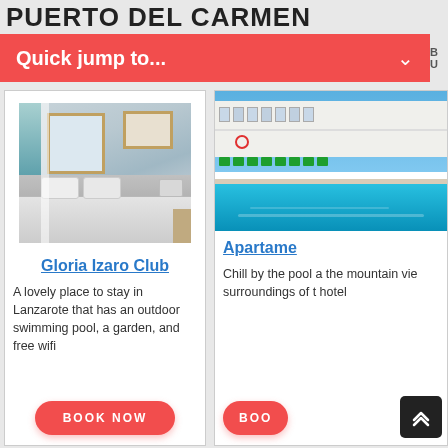PUERTO DEL CARMEN
Quick jump to...
[Figure (photo): Hotel bedroom with teal curtains, framed picture on wall, double bed with pillows and grey duvet, nightstand]
Gloria Izaro Club
A lovely place to stay in Lanzarote that has an outdoor swimming pool, a garden, and free wifi
BOOK NOW
[Figure (photo): Hotel exterior with white building, pool with turquoise water, green sun loungers lined up by the pool, blue sky]
Apartame
Chill by the pool a the mountain vie surroundings of t hotel
BOO